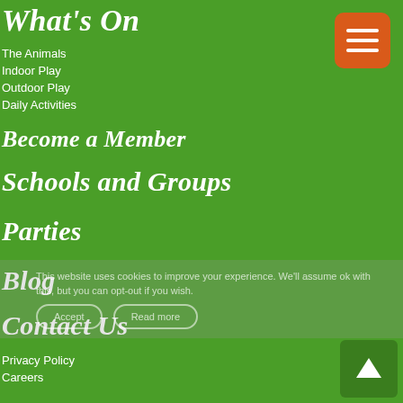What's On
The Animals
Indoor Play
Outdoor Play
Daily Activities
Become a Member
Schools and Groups
Parties
Blog
Contact Us
Privacy Policy
Careers
This website uses cookies to improve your experience. We'll assume ok with this, but you can opt-out if you wish.
[Figure (other): Orange hamburger menu button with three white horizontal bars]
[Figure (other): Green scroll-to-top button with white upward arrow]